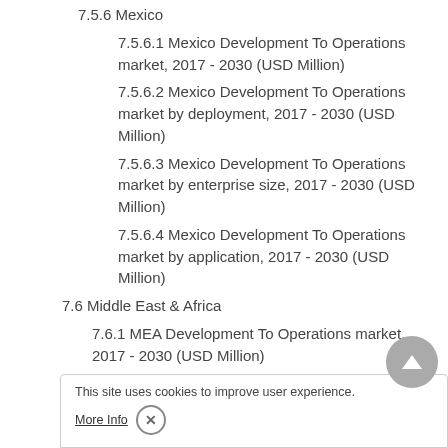7.5.6 Mexico
7.5.6.1 Mexico Development To Operations market, 2017 - 2030 (USD Million)
7.5.6.2 Mexico Development To Operations market by deployment, 2017 - 2030 (USD Million)
7.5.6.3 Mexico Development To Operations market by enterprise size, 2017 - 2030 (USD Million)
7.5.6.4 Mexico Development To Operations market by application, 2017 - 2030 (USD Million)
7.6 Middle East & Africa
7.6.1 MEA Development To Operations market, 2017 - 2030 (USD Million)
7.6.2 MEA Development To Operations market by deployment, 2017 -
7.6.3 MEA Development To Operations market by enterprise size, 2017 -